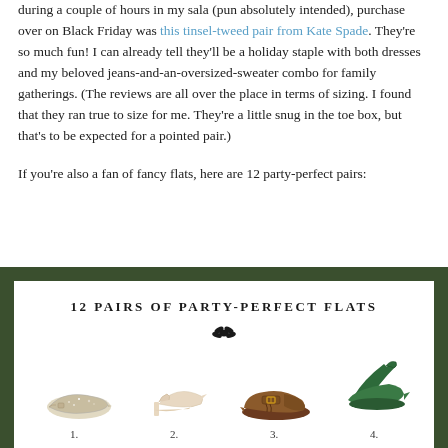during a couple of hours in my sala (pun absolutely intended), purchase over on Black Friday was this tinsel-tweed pair from Kate Spade. They're so much fun! I can already tell they'll be a holiday staple with both dresses and my beloved jeans-and-an-oversized-sweater combo for family gatherings. (The reviews are all over the place in terms of sizing. I found that they ran true to size for me. They're a little snug in the toe box, but that's to be expected for a pointed pair.)
If you're also a fan of fancy flats, here are 12 party-perfect pairs:
[Figure (infographic): Dark green bordered infographic with white interior titled '12 PAIRS OF PARTY-PERFECT FLATS' with a small floral/bee icon beneath the title, and a row of 4 shoes numbered 1-4: 1. sparkly pointed flat, 2. nude pointed d'orsay flat, 3. brown loafer with buckle, 4. green ribbon pointed flat]